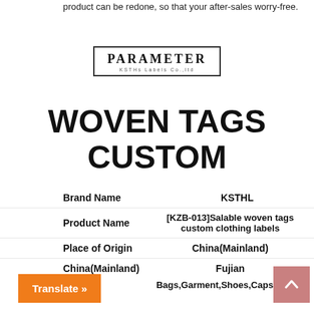product can be redone, so that your after-sales worry-free.
[Figure (logo): PARAMETER brand logo with text 'KSTHs Labels Co.,ltd' below, inside a rectangular border]
WOVEN TAGS CUSTOM
|  |  |
| --- | --- |
| Brand Name | KSTHL |
| Product Name | [KZB-013]Salable woven tags custom clothing labels |
| Place of Origin | China(Mainland) |
| China(Mainland) | Fujian |
|  | Bags,Garment,Shoes,Caps,Home- |
Translate »
[Figure (illustration): Scroll-to-top button with up arrow chevron on pinkish-red background]